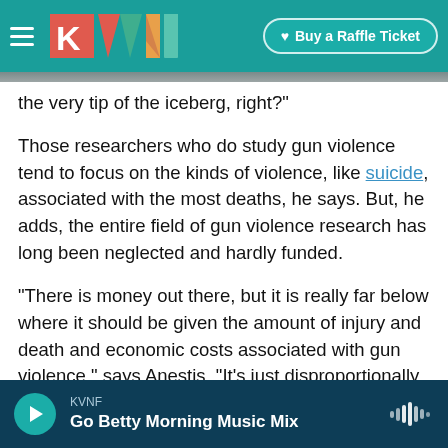KVNF ♥ Buy a Raffle Ticket
the very tip of the iceberg, right?"
Those researchers who do study gun violence tend to focus on the kinds of violence, like suicide, associated with the most deaths, he says. But, he adds, the entire field of gun violence research has long been neglected and hardly funded.
"There is money out there, but it is really far below where it should be given the amount of injury and death and economic costs associated with gun violence," says Anestis. "It's just disproportionally underfunded."
KVNF — Go Betty Morning Music Mix